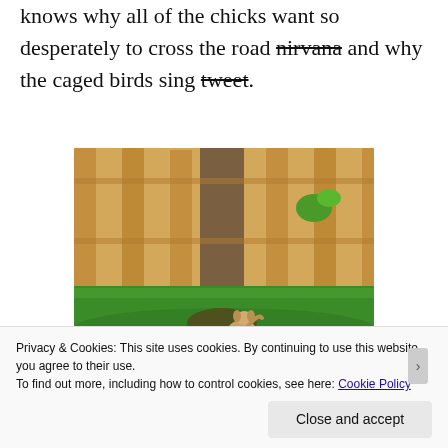knows why all of the chicks want so desperately to cross the road nirvana and why the caged birds sing tweet.
[Figure (photo): A small dog standing in a backyard near a large tree trunk and a wooden fence, with green grass and a potted plant visible.]
Privacy & Cookies: This site uses cookies. By continuing to use this website, you agree to their use.
To find out more, including how to control cookies, see here: Cookie Policy